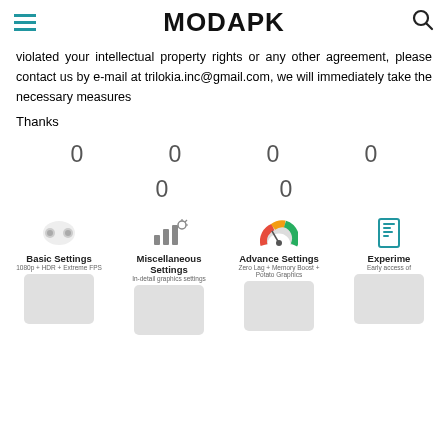MODAPK
violated your intellectual property rights or any other agreement, please contact us by e-mail at trilokia.inc@gmail.com, we will immediately take the necessary measures
Thanks
0  0  0  0
0  0
[Figure (screenshot): App feature cards showing Basic Settings, Miscellaneous Settings, Advance Settings, and Experiments with icons and phone screenshots]